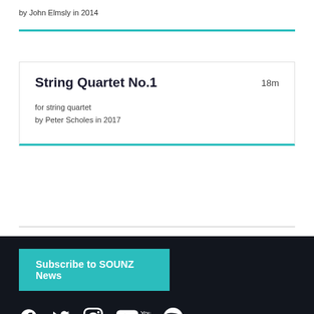by John Elmsly in 2014
String Quartet No.1
18m
for string quartet
by Peter Scholes in 2017
Subscribe to SOUNZ News
[Figure (other): Social media icons: Facebook, Twitter, Instagram, YouTube, Spotify]